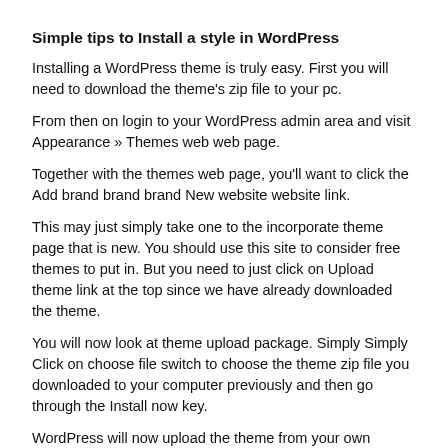Simple tips to Install a style in WordPress
Installing a WordPress theme is truly easy. First you will need to download the theme's zip file to your pc.
From then on login to your WordPress admin area and visit Appearance » Themes web web page.
Together with the themes web page, you'll want to click the Add brand brand brand New website website link.
This may just simply take one to the incorporate theme page that is new. You should use this site to consider free themes to put in. But you need to just click on Upload theme link at the top since we have already downloaded the theme.
You will now look at theme upload package. Simply Simply Click on choose file switch to choose the theme zip file you downloaded to your computer previously and then go through the Install now key.
WordPress will now upload the theme from your own